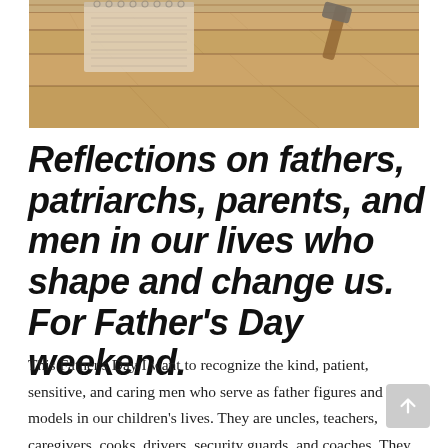[Figure (photo): Overhead view of wooden planks/boards with tools (notebook with spiral binding and what appears to be a hammer) resting on them, sepia/warm toned photograph]
Reflections on fathers, patriarchs, parents, and men in our lives who shape and change us. For Father's Day weekend.
This Father's Day I want to recognize the kind, patient, sensitive, and caring men who serve as father figures and role models in our children's lives. They are uncles, teachers, caregivers, cooks, drivers, security guards, and coaches. They are there every day in every way. They